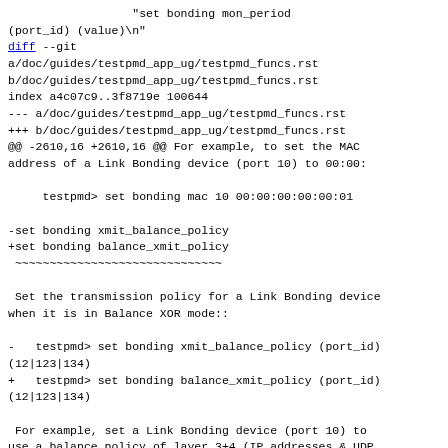"set bonding mon_period (port_id) (value)\n"
diff --git a/doc/guides/testpmd_app_ug/testpmd_funcs.rst b/doc/guides/testpmd_app_ug/testpmd_funcs.rst
index a4c07c9..3f8719e 100644
--- a/doc/guides/testpmd_app_ug/testpmd_funcs.rst
+++ b/doc/guides/testpmd_app_ug/testpmd_funcs.rst
@@ -2610,16 +2610,16 @@ For example, to set the MAC address of a Link Bonding device (port 10) to 00:00:

     testpmd> set bonding mac 10 00:00:00:00:00:01

-set bonding xmit_balance_policy
+set bonding balance_xmit_policy
 ~~~~~~~~~~~~~~~~~~~~~~~~~~~~~~

 Set the transmission policy for a Link Bonding device when it is in Balance XOR mode::

-   testpmd> set bonding xmit_balance_policy (port_id) (12|123|134)
+   testpmd> set bonding balance_xmit_policy (port_id) (12|123|134)

 For example, set a Link Bonding device (port 10) to use a balance policy of layer 3+4 (IP addresses & UDP ports)::

-   testpmd> set bonding xmit balance policy 10 l34